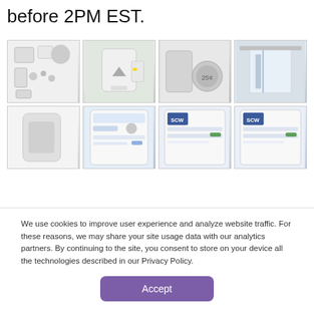before 2PM EST.
[Figure (photo): Grid of 8 product/app photos: security system components, hub device, door sensor with coin, garage door, motion sensor, mobile app UI, two SCW web interface screenshots]
We use cookies to improve user experience and analyze website traffic. For these reasons, we may share your site usage data with our analytics partners. By continuing to the site, you consent to store on your device all the technologies described in our Privacy Policy.
Accept